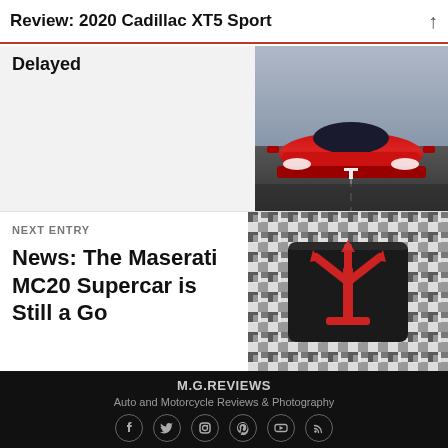Review: 2020 Cadillac XT5 Sport
Delayed
[Figure (photo): Front view of a red Tesla Roadster on a road]
NEXT ENTRY
News: The Maserati MC20 Supercar is Still a Go
[Figure (photo): Maserati MC20 supercar with camouflage wrap, showing the Maserati trident logo in red on a dark background]
M.G.REVIEWS
Auto and Motorcycle Reviews & Photography